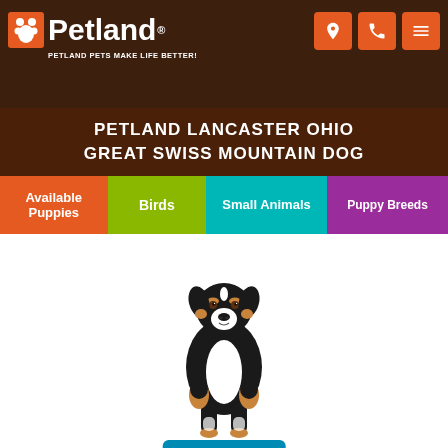[Figure (logo): Petland logo with paw icon and tagline: PETLAND PETS MAKE LIFE BETTER!]
PETLAND LANCASTER OHIO GREAT SWISS MOUNTAIN DOG
Available Puppies | Birds | Small Animals | Puppy Breeds
[Figure (photo): Great Swiss Mountain Dog standing on white background, black, white and tan tri-color large breed dog]
Text Us
Need Help?